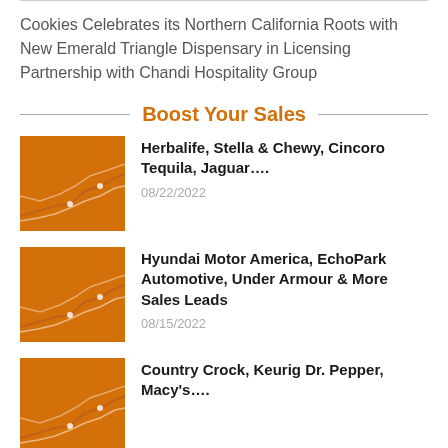Cookies Celebrates its Northern California Roots with New Emerald Triangle Dispensary in Licensing Partnership with Chandi Hospitality Group
Boost Your Sales
Herbalife, Stella & Chewy, Cincoro Tequila, Jaguar…. 08/22/2022
Hyundai Motor America, EchoPark Automotive, Under Armour & More Sales Leads 08/15/2022
Country Crock, Keurig Dr. Pepper, Macy's….